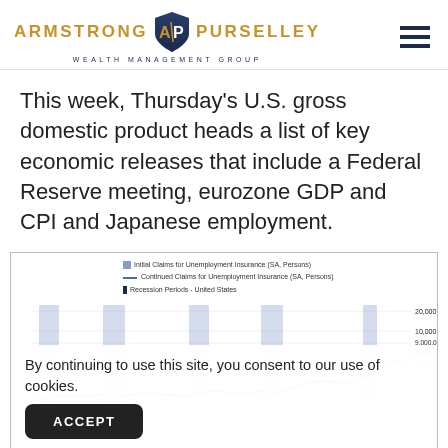[Figure (logo): Armstrong Purselley Wealth Management Group logo with AP shield emblem and hamburger menu icon]
This week, Thursday's U.S. gross domestic product heads a list of key economic releases that include a Federal Reserve meeting, eurozone GDP and CPI and Japanese employment.
[Figure (continuous-plot): Time series chart showing Initial Claims for Unemployment Insurance (SA, Persons), Continued Claims for Unemployment Insurance (SA, Persons), and Recession Periods - United States. Y-axis shows values up to 20,000,000 with gridlines at 10,000,000; 9,000,000; 8,000,000; 7,000,000. Blue shaded recession period bars visible.]
By continuing to use this site, you consent to our use of cookies.